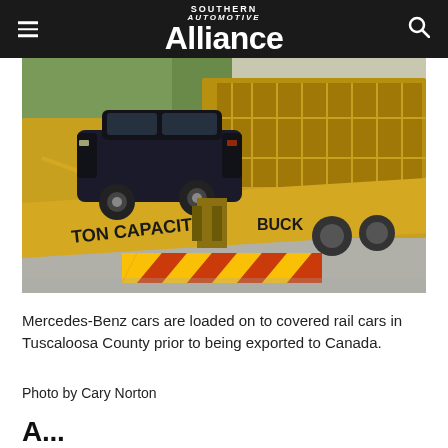SOUTHERN AUTOMOTIVE Alliance
[Figure (photo): A black Mercedes-Benz SUV being loaded onto a yellow covered auto-rack rail car. The rail car ramp shows text 'TON CAPACITY' and 'BUCK'. Striped hazard markings visible on the ground.]
Mercedes-Benz cars are loaded on to covered rail cars in Tuscaloosa County prior to being exported to Canada.
Photo by Cary Norton
A...